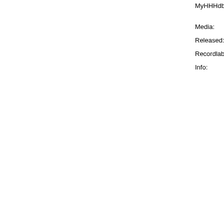MyHHHdb   Add this (what is this?)
Media:   [Audio C...]
Released:   2005
Recordlabel:   Wise Up...
Info:   Artists f... Records... 2005.  1. Lil Ra... 2. Anton... 3. Dyna... 4. J Roc... 5. Prime... 6. C.R.C... Give Up... 7. Lil Ra... 8. Mr. R... 9. Soler... 10. L.G.... 11. Brut... She Ca... 12. Lil F... 13. L.G.... 14. Mr. I... 15. True... 16. Futu... The Tak...